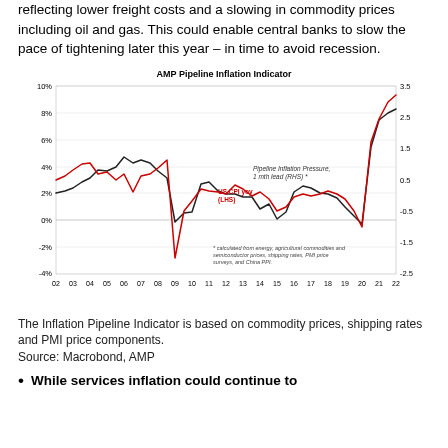reflecting lower freight costs and a slowing in commodity prices including oil and gas. This could enable central banks to slow the pace of tightening later this year – in time to avoid recession.
[Figure (continuous-plot): Dual-axis line chart showing US CPI yoy (LHS, black line, -4% to 10%) and Pipeline Inflation Pressure 1 mth lead (RHS, red line, -2.5 to 3.5) from 2002 to 2022. Both series show a strong surge toward 2022.]
The Inflation Pipeline Indicator is based on commodity prices, shipping rates and PMI price components.
Source: Macrobond, AMP
While services inflation could continue to